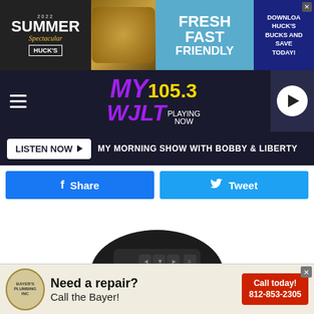[Figure (screenshot): Top advertisement banner for Huck's Summer Spectacular with Fresh Fast Friendly tagline and food image]
[Figure (logo): MY 105.3 WJLT radio station logo with play button and hamburger menu]
LISTEN NOW ▶  MY MORNING SHOW WITH BOBBY & LIBERTY
[Figure (screenshot): Facebook Share and Twitter Tweet social media buttons]
[Figure (photo): Garmin Striker 4 GPS Fishfinder device photo showing the back panel with navigation buttons, credit: Amazon]
Amazon
Garmin Striker 4, 3.5" GPS Fishfinder
[Figure (screenshot): Bottom advertisement for Bayer's Plumbing showing Need a repair? Call the Bayer! Call today! 812-853-2305]